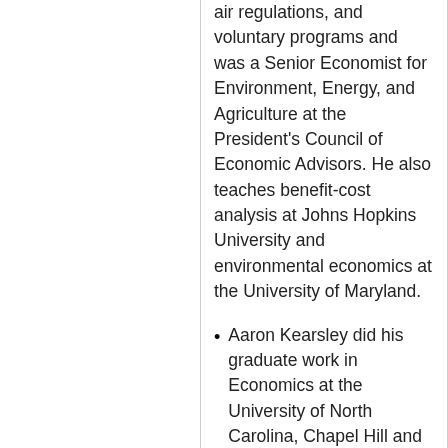air regulations, and voluntary programs and was a Senior Economist for Environment, Energy, and Agriculture at the President's Council of Economic Advisors. He also teaches benefit-cost analysis at Johns Hopkins University and environmental economics at the University of Maryland.
Aaron Kearsley did his graduate work in Economics at the University of North Carolina, Chapel Hill and the University of Nevada, Las Vegas. Aaron is a